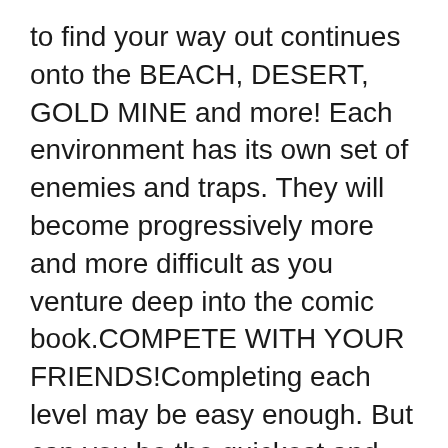to find your way out continues onto the BEACH, DESERT, GOLD MINE and more! Each environment has its own set of enemies and traps. They will become progressively more and more difficult as you venture deep into the comic book.COMPETE WITH YOUR FRIENDS!Completing each level may be easy enough. But can you be the quickest and score the most points at the same time? Compare your total score with your opponents and other Comic Boy players globally! Compete for that parkour bragging rights.UNLOCK THE CHARACTERS!Comic Boy is not the only person trapped in the comic book. Help Parkour Girl, Foxy and Ninjoe dash and escape the page as well. Each character has their own distinct special move and trait. Give them a try and you will find out that each